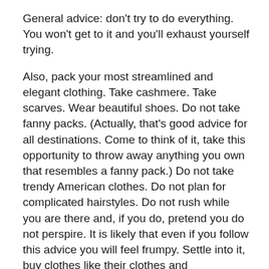General advice: don't try to do everything. You won't get to it and you'll exhaust yourself trying.
Also, pack your most streamlined and elegant clothing. Take cashmere. Take scarves. Wear beautiful shoes. Do not take fanny packs. (Actually, that's good advice for all destinations. Come to think of it, take this opportunity to throw away anything you own that resembles a fanny pack.) Do not take trendy American clothes. Do not plan for complicated hairstyles. Do not rush while you are there and, if you do, pretend you do not perspire. It is likely that even if you follow this advice you will feel frumpy. Settle into it, buy clothes like their clothes and accessories like theirs and console yourself that once you're back stateside you will definitely look better than everyone else here.
Hotels